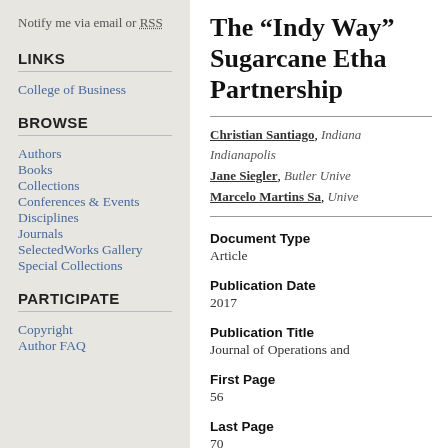Notify me via email or RSS
LINKS
College of Business
BROWSE
Authors
Books
Collections
Conferences & Events
Disciplines
Journals
SelectedWorks Gallery
Special Collections
PARTICIPATE
Copyright
Author FAQ
The “Indy Way” Sugarcane Ethanol Partnership
Christian Santiago, Indiana University–Purdue University Indianapolis
Jane Siegler, Butler University
Marcelo Martins Sa, University...
Document Type
Article
Publication Date
2017
Publication Title
Journal of Operations and ...
First Page
56
Last Page
70